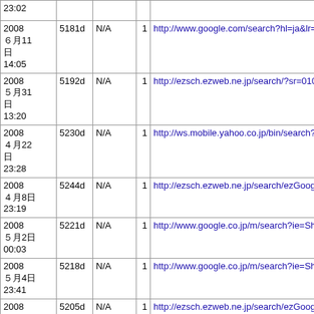| Date | Age | N/A | Num | URL |
| --- | --- | --- | --- | --- |
| 23:02 |  |  |  |  |
| 2008
６月11
日
14:05 | 5181d | N/A | 1 | http://www.google.com/search?hl=ja&lr=lang... |
| 2008
５月31
日
13:20 | 5192d | N/A | 1 | http://ezsch.ezweb.ne.jp/search/?sr=0101&c... |
| 2008
４月22
日
23:28 | 5230d | N/A | 1 | http://ws.mobile.yahoo.co.jp/bin/search?fr=m... |
| 2008
４月8日
23:19 | 5244d | N/A | 1 | http://ezsch.ezweb.ne.jp/search/ezGoogleM... |
| 2008
５月2日
00:03 | 5221d | N/A | 1 | http://www.google.co.jp/m/search?ie=Shift_J... |
| 2008
５月4日
23:41 | 5218d | N/A | 1 | http://www.google.co.jp/m/search?ie=Shift_J... |
| 2008
５月17
日
22:59 | 5205d | N/A | 1 | http://ezsch.ezweb.ne.jp/search/ezGoogleM... |
| 2008
７月... |  |  |  |  |